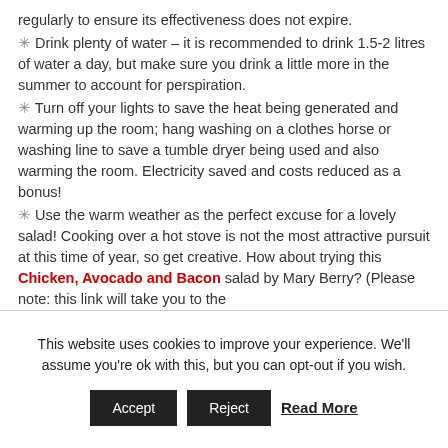regularly to ensure its effectiveness does not expire.
✳ Drink plenty of water – it is recommended to drink 1.5-2 litres of water a day, but make sure you drink a little more in the summer to account for perspiration.
✳ Turn off your lights to save the heat being generated and warming up the room; hang washing on a clothes horse or washing line to save a tumble dryer being used and also warming the room. Electricity saved and costs reduced as a bonus!
✳ Use the warm weather as the perfect excuse for a lovely salad! Cooking over a hot stove is not the most attractive pursuit at this time of year, so get creative. How about trying this Chicken, Avocado and Bacon salad by Mary Berry? (Please note: this link will take you to the
This website uses cookies to improve your experience. We'll assume you're ok with this, but you can opt-out if you wish.